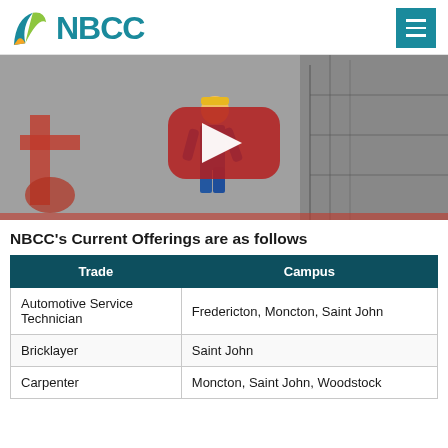NBCC
[Figure (screenshot): Video thumbnail showing an animated worker in a hard hat and overalls walking past industrial machinery with a YouTube play button overlay in the center]
NBCC's Current Offerings are as follows
| Trade | Campus |
| --- | --- |
| Automotive Service Technician | Fredericton, Moncton, Saint John |
| Bricklayer | Saint John |
| Carpenter | Moncton, Saint John, Woodstock |